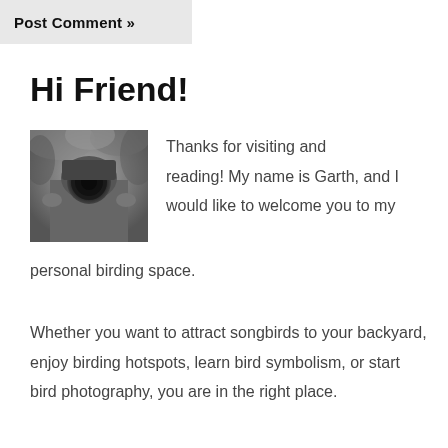Post Comment »
Hi Friend!
[Figure (photo): Black and white photo of a person holding a large camera/lens up to their face, outdoors with trees in background]
Thanks for visiting and reading! My name is Garth, and I would like to welcome you to my personal birding space.
Whether you want to attract songbirds to your backyard, enjoy birding hotspots, learn bird symbolism, or start bird photography, you are in the right place.